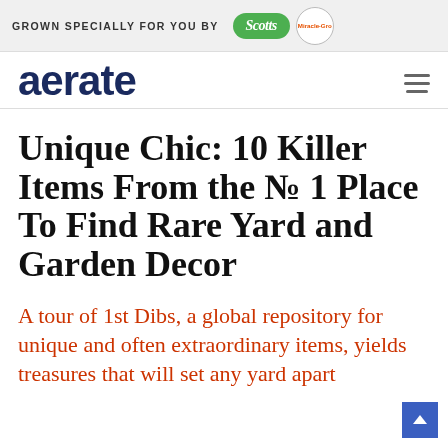GROWN SPECIALLY FOR YOU BY  Scotts  Miracle-Gro
aerate
Unique Chic: 10 Killer Items From the No 1 Place To Find Rare Yard and Garden Decor
A tour of 1st Dibs, a global repository for unique and often extraordinary items, yields treasures that will set any yard apart